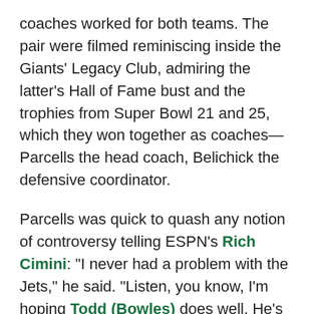coaches worked for both teams. The pair were filmed reminiscing inside the Giants' Legacy Club, admiring the latter's Hall of Fame bust and the trophies from Super Bowl 21 and 25, which they won together as coaches—Parcells the head coach, Belichick the defensive coordinator.
Parcells was quick to quash any notion of controversy telling ESPN's Rich Cimini: "I never had a problem with the Jets," he said. "Listen, you know, I'm hoping Todd (Bowles) does well. He's one of my guys."
Belichick's reticence was understandable, given his ill-fated departure from the Jets. After being named